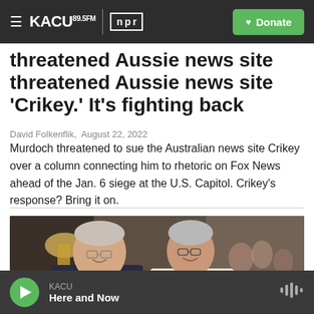KACU 89.5 FM | NPR  Donate
threatened Aussie news site 'Crikey.' It's fighting back
David Folkenflik,  August 22, 2022
Murdoch threatened to sue the Australian news site Crikey over a column connecting him to rhetoric on Fox News ahead of the Jan. 6 siege at the U.S. Capitol. Crikey's response? Bring it on.
[Figure (photo): Two men standing together at an indoor event, smiling at the camera. Left man wears a dark suit with a purple tie; right man wears a white shirt with a red tie. Background shows other attendees and interior lighting.]
KACU  Here and Now